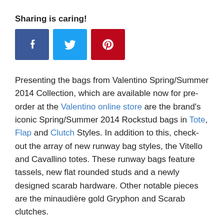Sharing is caring!
[Figure (infographic): Three social sharing buttons: Facebook (blue), Twitter (light blue), Pinterest (red)]
Presenting the bags from Valentino Spring/Summer 2014 Collection, which are available now for pre-order at the Valentino online store are the brand’s iconic Spring/Summer 2014 Rockstud bags in Tote, Flap and Clutch Styles. In addition to this, check-out the array of new runway bag styles, the Vitello and Cavallino totes. These runway bags feature tassels, new flat rounded studs and a newly designed scarab hardware. Other notable pieces are the minandière gold Gryphon and Scarab clutches.